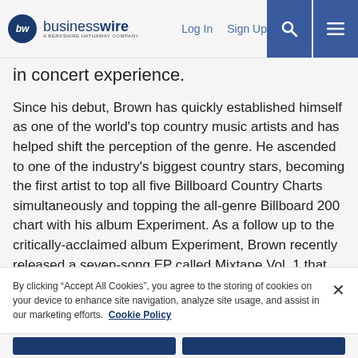businesswire — A BERKSHIRE HATHAWAY COMPANY | Log In | Sign Up
in concert experience.
Since his debut, Brown has quickly established himself as one of the world's top country music artists and has helped shift the perception of the genre. He ascended to one of the industry's biggest country stars, becoming the first artist to top all five Billboard Country Charts simultaneously and topping the all-genre Billboard 200 chart with his album Experiment. As a follow up to the critically-acclaimed album Experiment, Brown recently released a seven-song EP called Mixtape Vol. 1 that includes popular collaborations "Be Like That" ft. Khalid and Swae Lee and “Last Time I Say Sorry,” the song Brown co-wrote with EGOT winner John Legend. The September 26 concert was recorded live and
By clicking “Accept All Cookies”, you agree to the storing of cookies on your device to enhance site navigation, analyze site usage, and assist in our marketing efforts.  Cookie Policy